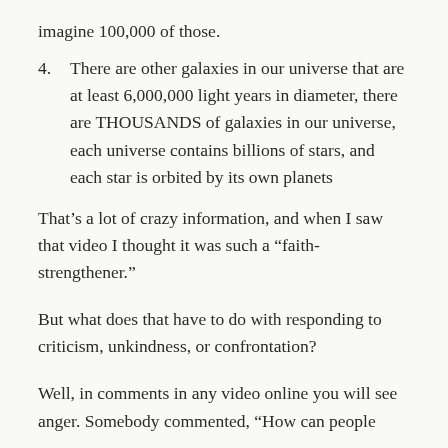imagine 100,000 of those.
4.    There are other galaxies in our universe that are at least 6,000,000 light years in diameter, there are THOUSANDS of galaxies in our universe, each universe contains billions of stars, and each star is orbited by its own planets
That’s a lot of crazy information, and when I saw that video I thought it was such a “faith-strengthener.”
But what does that have to do with responding to criticism, unkindness, or confrontation?
Well, in comments in any video online you will see anger. Somebody commented, “How can people